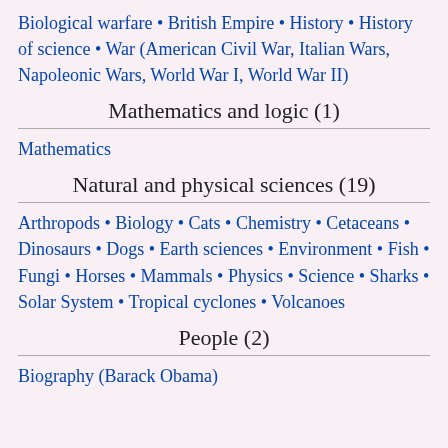Biological warfare • British Empire • History • History of science • War (American Civil War, Italian Wars, Napoleonic Wars, World War I, World War II)
Mathematics and logic (1)
Mathematics
Natural and physical sciences (19)
Arthropods • Biology • Cats • Chemistry • Cetaceans • Dinosaurs • Dogs • Earth sciences • Environment • Fish • Fungi • Horses • Mammals • Physics • Science • Sharks • Solar System • Tropical cyclones • Volcanoes
People (2)
Biography (Barack Obama)